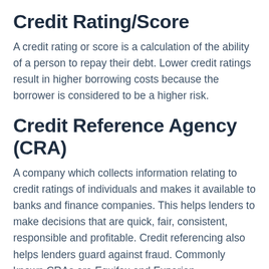Credit Rating/Score
A credit rating or score is a calculation of the ability of a person to repay their debt. Lower credit ratings result in higher borrowing costs because the borrower is considered to be a higher risk.
Credit Reference Agency (CRA)
A company which collects information relating to credit ratings of individuals and makes it available to banks and finance companies. This helps lenders to make decisions that are quick, fair, consistent, responsible and profitable. Credit referencing also helps lenders guard against fraud. Commonly known CRAs are Equifax and Experian.
Creeping Freehold